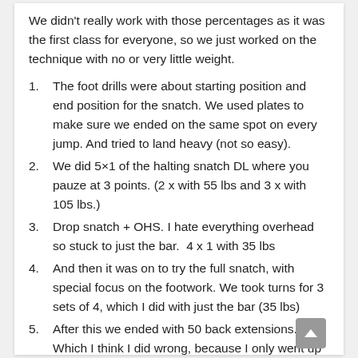We didn't really work with those percentages as it was the first class for everyone, so we just worked on the technique with no or very little weight.
The foot drills were about starting position and end position for the snatch. We used plates to make sure we ended on the same spot on every jump. And tried to land heavy (not so easy).
We did 5×1 of the halting snatch DL where you pauze at 3 points. (2 x with 55 lbs and 3 x with 105 lbs.)
Drop snatch + OHS. I hate everything overhead so stuck to just the bar.  4 x 1 with 35 lbs
And then it was on to try the full snatch, with special focus on the footwork. We took turns for 3 sets of 4, which I did with just the bar (35 lbs)
After this we ended with 50 back extensions. Which I think I did wrong, because I only went up with my chest and not with my legs (ups).